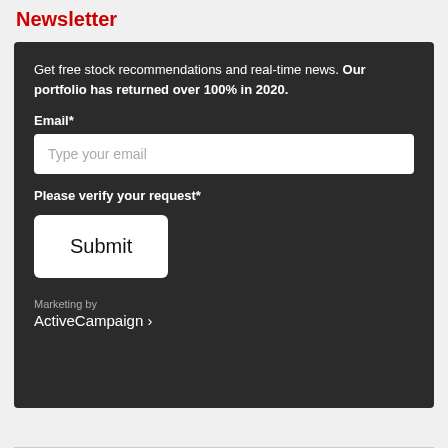Newsletter
Get free stock recommendations and real-time news. Our portfolio has returned over 100% in 2020.
Email*
Type your email
Please verify your request*
Submit
Marketing by
ActiveCampaign ›